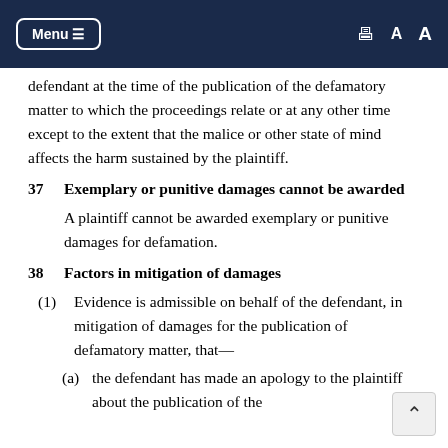Menu ≡   🖶  A  A
defendant at the time of the publication of the defamatory matter to which the proceedings relate or at any other time except to the extent that the malice or other state of mind affects the harm sustained by the plaintiff.
37   Exemplary or punitive damages cannot be awarded
A plaintiff cannot be awarded exemplary or punitive damages for defamation.
38   Factors in mitigation of damages
(1)  Evidence is admissible on behalf of the defendant, in mitigation of damages for the publication of defamatory matter, that—
(a)  the defendant has made an apology to the plaintiff about the publication of the